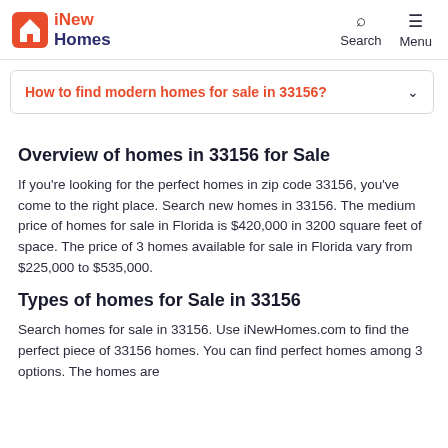iNew Homes | Search | Menu
How to find modern homes for sale in 33156?
Overview of homes in 33156 for Sale
If you're looking for the perfect homes in zip code 33156, you've come to the right place. Search new homes in 33156. The medium price of homes for sale in Florida is $420,000 in 3200 square feet of space. The price of 3 homes available for sale in Florida vary from $225,000 to $535,000.
Types of homes for Sale in 33156
Search homes for sale in 33156. Use iNewHomes.com to find the perfect piece of 33156 homes. You can find perfect homes among 3 options. The homes are